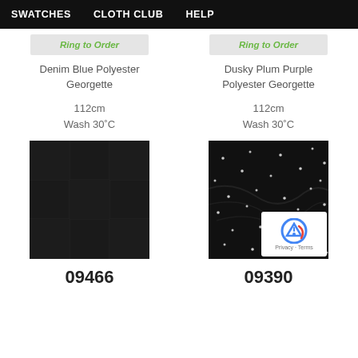SWATCHES   CLOTH CLUB   HELP
Ring to Order
Denim Blue Polyester Georgette
112cm
Wash 30˚C
[Figure (photo): Dark navy/black fabric swatch with subtle grid pattern, product 09466]
09466
Ring to Order
Dusky Plum Purple Polyester Georgette
112cm
Wash 30˚C
[Figure (photo): Dark fabric swatch with sparkling dots/beads scattered across surface, product 09390]
09390